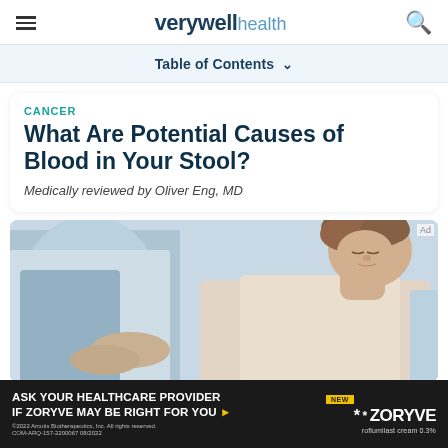verywell health
Table of Contents
CANCER
What Are Potential Causes of Blood in Your Stool?
Medically reviewed by Oliver Eng, MD
[Figure (photo): A doctor examining a female patient who is looking down, in a medical setting with soft lighting.]
ASK YOUR HEALTHCARE PROVIDER IF ZORYVE MAY BE RIGHT FOR YOU